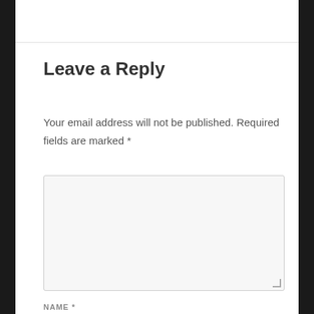Leave a Reply
Your email address will not be published. Required fields are marked *
[Figure (other): Comment text area input field with resize handle]
NAME *